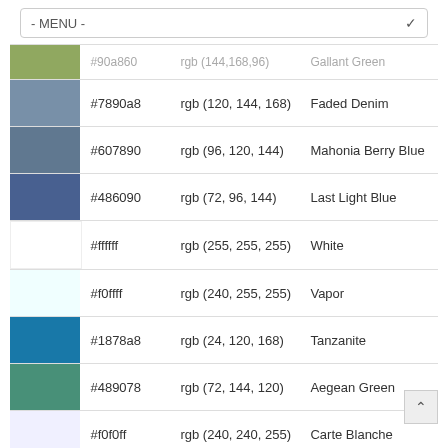- MENU -
| Color | Hex | RGB | Name |
| --- | --- | --- | --- |
| [partial olive green] | #90a860 | rgb (144,168,96) | Gallant Green (partial) |
| [steel blue] | #7890a8 | rgb (120, 144, 168) | Faded Denim |
| [slate blue-gray] | #607890 | rgb (96, 120, 144) | Mahonia Berry Blue |
| [dark navy blue] | #486090 | rgb (72, 96, 144) | Last Light Blue |
| [white] | #ffffff | rgb (255, 255, 255) | White |
| [light cyan] | #f0ffff | rgb (240, 255, 255) | Vapor |
| [ocean blue] | #1878a8 | rgb (24, 120, 168) | Tanzanite |
| [teal green] | #489078 | rgb (72, 144, 120) | Aegean Green |
| [lavender white] | #f0f0ff | rgb (240, 240, 255) | Carte Blanche |
| [forest green] | #307860 | rgb (48, 120, 96) | Scouring Rush |
21 Posts Related to Kitchen Cabinets Timonium Md